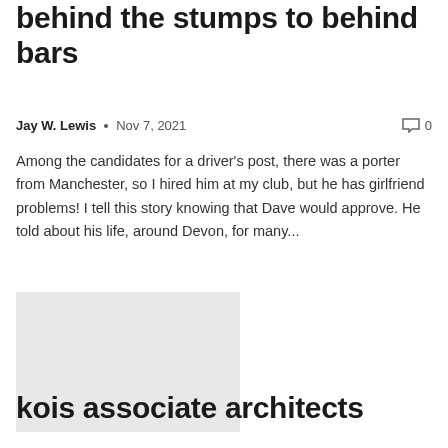behind the stumps to behind bars
Jay W. Lewis • Nov 7, 2021   0
Among the candidates for a driver's post, there was a porter from Manchester, so I hired him at my club, but he has girlfriend problems! I tell this story knowing that Dave would approve. He told about his life, around Devon, for many...
[Figure (photo): A gray placeholder image rectangle]
kois associate architects